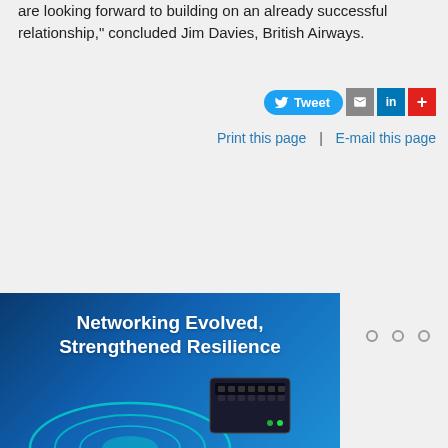are looking forward to building on an already successful relationship," concluded Jim Davies, British Airways.
[Figure (screenshot): Social sharing buttons: Tweet (blue), email (grey), LinkedIn (blue), plus/share (red)]
Print this page | E-mail this page
[Figure (illustration): Three pagination dots (circles) aligned horizontally]
[Figure (photo): Advertisement banner with blue gradient background showing networking equipment and text 'Networking Evolved, Strengthened Resilience']